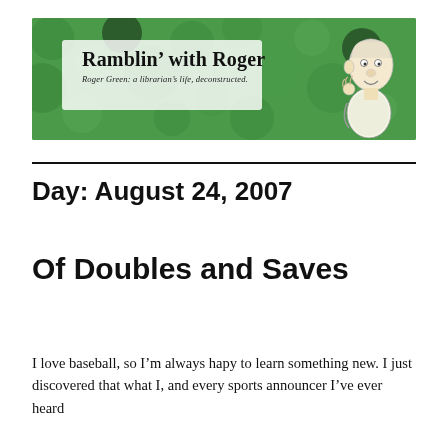[Figure (illustration): Blog header banner with green mottled background. Bold text reads 'Ramblin' with Roger' with subtitle 'Roger Green: a librarian's life, deconstructed.' A cartoon caricature figure is on the right side.]
Day: August 24, 2007
Of Doubles and Saves
I love baseball, so I'm always hapy to learn something new. I just discovered that what I, and every sports announcer I've ever heard